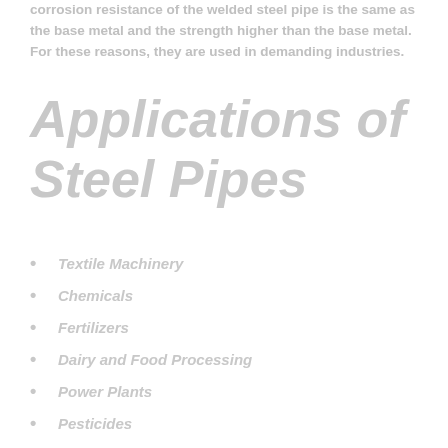corrosion resistance of the welded steel pipe is the same as the base metal and the strength higher than the base metal. For these reasons, they are used in demanding industries.
Applications of Steel Pipes
Textile Machinery
Chemicals
Fertilizers
Dairy and Food Processing
Power Plants
Pesticides
Construction
Modern Architecture
Pharmaceuticals
Sugar